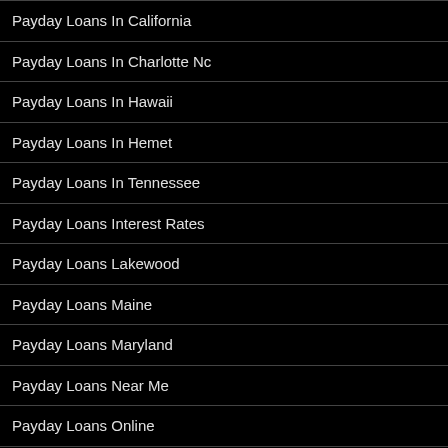Payday Loans In California
Payday Loans In Charlotte Nc
Payday Loans In Hawaii
Payday Loans In Hemet
Payday Loans In Tennessee
Payday Loans Interest Rates
Payday Loans Lakewood
Payday Loans Maine
Payday Loans Maryland
Payday Loans Near Me
Payday Loans Online
Payday Loans Online Montana No Credit Check
Payday Loans Online Nevada No Credit Check